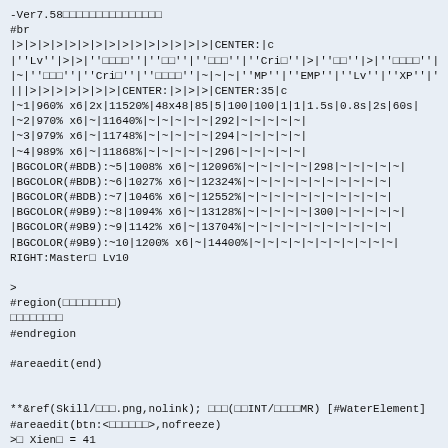-Ver7.58□□□□□□□□□□□□□□□
#br
|>|>|>|>|>|>|>|>|>|>|>|>|>|>|>|CENTER:|c
|''Lv''|>|>|''□□□□''|''□□''|''□□□''|''Cri□''|>|''□□''|>|''□□□□''|
|~|''□□□''|''Cri□''|''□□□□''|~|~|~|''MP''|''EMP''|''Lv''|''XP''|
|||>|>|>|>|>|>|>|CENTER:|>|>|>|CENTER:35|c
|~1|960% x6|2x|11520%|48x48|85|5|100|100|1|1|1.5s|0.8s|2s|60s|
|~2|970% x6|~|11640%|~|~|~|~|~|292|~|~|~|~|~|
|~3|979% x6|~|11748%|~|~|~|~|~|294|~|~|~|~|~|
|~4|989% x6|~|11868%|~|~|~|~|~|296|~|~|~|~|~|
|BGCOLOR(#BDB):~5|1008% x6|~|12096%|~|~|~|~|~|298|~|~|~|~|~|
|BGCOLOR(#BDB):~6|1027% x6|~|12324%|~|~|~|~|~|~|~|~|~|~|~|
|BGCOLOR(#BDB):~7|1046% x6|~|12552%|~|~|~|~|~|~|~|~|~|~|~|
|BGCOLOR(#9B9):~8|1094% x6|~|13128%|~|~|~|~|~|300|~|~|~|~|~|
|BGCOLOR(#9B9):~9|1142% x6|~|13704%|~|~|~|~|~|~|~|~|~|~|~|
|BGCOLOR(#9B9):~10|1200% x6|~|14400%|~|~|~|~|~|~|~|~|~|~|~|
RIGHT:Master□ Lv10

>
#region(□□□□□□□□)
□□□□□□□□
#endregion

#areaedit(end)


**&ref(Skill/□□□.png,nolink); □□□(□□INT/□□□□MR) [#WaterElement]
#areaedit(btn:<□□□□□□>,nofreeze)
>□ Xien□ = 41

&aname(IceBeat);
 †□□□□□□□□□ [□□][INT][□□□] □□□□□□□□□□□□□□
>&ref(../□□□□□□.png,nolink); □□□□